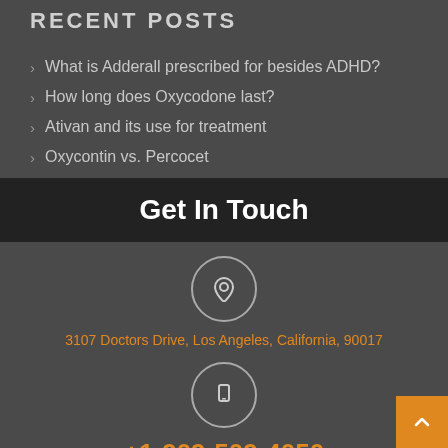RECENT POSTS
What is Adderall prescribed for besides ADHD?
How long does Oxycodone last?
Ativan and its use for treatment
Oxycontin vs. Percocet
Get In Touch
3107 Doctors Drive, Los Angeles, California, 90017
+1-909-509-4050